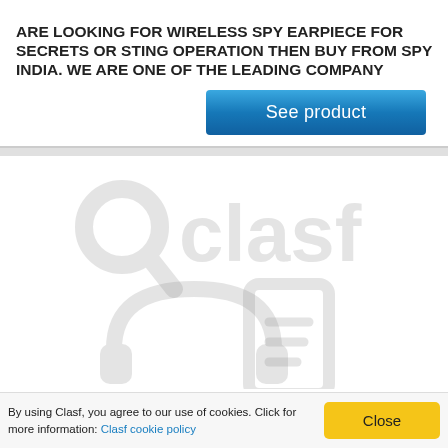ARE LOOKING FOR WIRELESS SPY EARPIECE FOR SECRETS OR STING OPERATION THEN BUY FROM SPY INDIA. WE ARE ONE OF THE LEADING COMPANY
[Figure (other): Blue 'See product' button]
[Figure (logo): Clasf watermark logo with magnifying glass icon and headphones/music player icons in light gray]
By using Clasf, you agree to our use of cookies. Click for more information: Clasf cookie policy